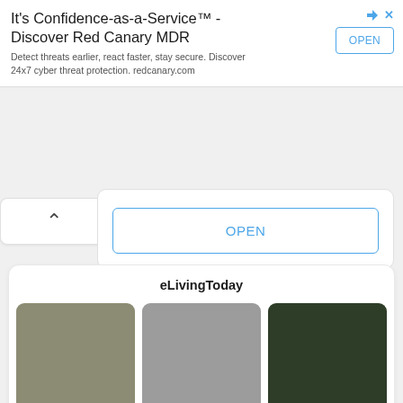[Figure (screenshot): Advertisement banner for Red Canary MDR with title, subtitle text, OPEN button, and navigation icons]
It's Confidence-as-a-Service™ - Discover Red Canary MDR
Detect threats earlier, react faster, stay secure. Discover 24x7 cyber threat protection. redcanary.com
[Figure (screenshot): Collapsed ad card with chevron/up-arrow icon]
[Figure (screenshot): Expanded ad card with large OPEN button]
OPEN
[Figure (screenshot): eLivingToday card with three color swatches: tan/olive, gray, dark green]
eLivingToday